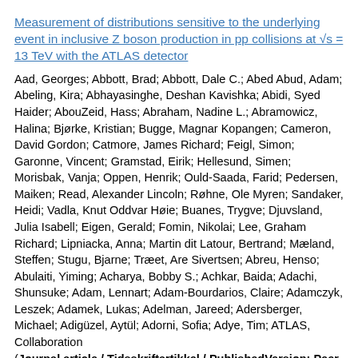Measurement of distributions sensitive to the underlying event in inclusive Z boson production in pp collisions at √s = 13 TeV with the ATLAS detector
Aad, Georges; Abbott, Brad; Abbott, Dale C.; Abed Abud, Adam; Abeling, Kira; Abhayasinghe, Deshan Kavishka; Abidi, Syed Haider; AbouZeid, Hass; Abraham, Nadine L.; Abramowicz, Halina; Bjørke, Kristian; Bugge, Magnar Kopangen; Cameron, David Gordon; Catmore, James Richard; Feigl, Simon; Garonne, Vincent; Gramstad, Eirik; Hellesund, Simen; Morisbak, Vanja; Oppen, Henrik; Ould-Saada, Farid; Pedersen, Maiken; Read, Alexander Lincoln; Røhne, Ole Myren; Sandaker, Heidi; Vadla, Knut Oddvar Høie; Buanes, Trygve; Djuvsland, Julia Isabell; Eigen, Gerald; Fomin, Nikolai; Lee, Graham Richard; Lipniacka, Anna; Martin dit Latour, Bertrand; Mæland, Steffen; Stugu, Bjarne; Træet, Are Sivertsen; Abreu, Henso; Abulaiti, Yiming; Acharya, Bobby S.; Achkar, Baida; Adachi, Shunsuke; Adam, Lennart; Adam-Bourdarios, Claire; Adamczyk, Leszek; Adamek, Lukas; Adelman, Jareed; Adersberger, Michael; Adigüzel, Aytül; Adorni, Sofia; Adye, Tim; ATLAS, Collaboration
(Journal article / Tidsskriftartikkel / PublishedVersion; Peer reviewed, 2019)
This paper presents measurements of chargedparticle distributions sensitive to the properties of the underlying event in events